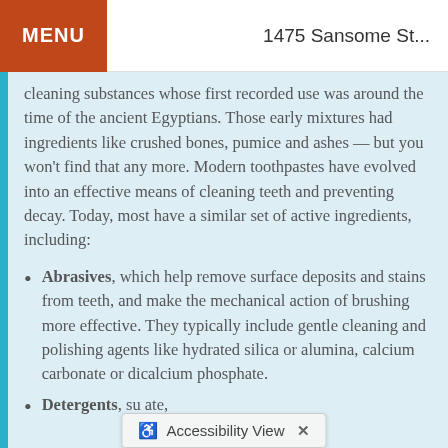MENU  1475 Sansome St...
cleaning substances whose first recorded use was around the time of the ancient Egyptians. Those early mixtures had ingredients like crushed bones, pumice and ashes — but you won't find that any more. Modern toothpastes have evolved into an effective means of cleaning teeth and preventing decay. Today, most have a similar set of active ingredients, including:
Abrasives, which help remove surface deposits and stains from teeth, and make the mechanical action of brushing more effective. They typically include gentle cleaning and polishing agents like hydrated silica or alumina, calcium carbonate or dicalcium phosphate.
Detergents, su... ate,